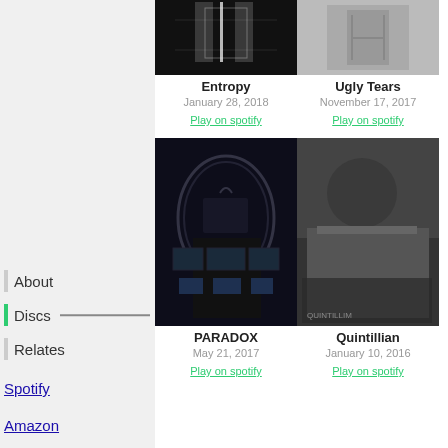About
Discs
Relates
Spotify
Amazon
[Figure (photo): Album cover for Entropy - dark skeleton image]
Entropy
January 28, 2018
Play on spotify
[Figure (photo): Album cover for Ugly Tears - figure with harness]
Ugly Tears
November 17, 2017
Play on spotify
[Figure (photo): Album cover for PARADOX - dark archway with monitors]
PARADOX
May 21, 2017
Play on spotify
[Figure (photo): Album cover for Quintillian - figure in camouflage]
Quintillian
January 10, 2016
Play on spotify